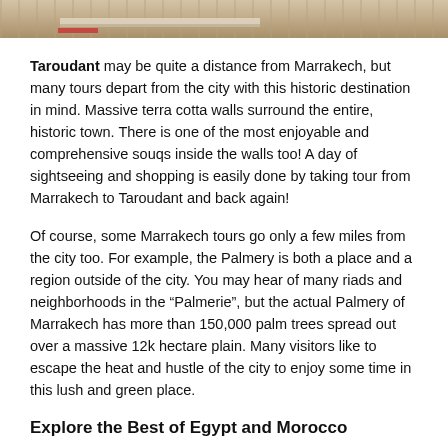[Figure (photo): Partial view of a street or outdoor scene, likely in Taroudant or Morocco, showing a road or plaza with terra cotta tones, a red stripe element visible at bottom of photo strip.]
Taroudant may be quite a distance from Marrakech, but many tours depart from the city with this historic destination in mind. Massive terra cotta walls surround the entire, historic town. There is one of the most enjoyable and comprehensive souqs inside the walls too! A day of sightseeing and shopping is easily done by taking tour from Marrakech to Taroudant and back again!
Of course, some Marrakech tours go only a few miles from the city too. For example, the Palmery is both a place and a region outside of the city. You may hear of many riads and neighborhoods in the “Palmerie”, but the actual Palmery of Marrakech has more than 150,000 palm trees spread out over a massive 12k hectare plain. Many visitors like to escape the heat and hustle of the city to enjoy some time in this lush and green place.
Explore the Best of Egypt and Morocco